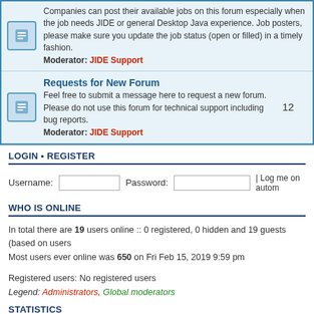Companies can post their available jobs on this forum especially when the job needs JIDE or general Desktop Java experience. Job posters, please make sure you update the job status (open or filled) in a timely fashion. Moderator: JIDE Support
Requests for New Forum
Feel free to submit a message here to request a new forum. Please do not use this forum for technical support including bug reports. Moderator: JIDE Support
LOGIN • REGISTER
Username: [input] Password: [input] | Log me on autom
WHO IS ONLINE
In total there are 19 users online :: 0 registered, 0 hidden and 19 guests (based on users Most users ever online was 650 on Fri Feb 15, 2019 9:59 pm
Registered users: No registered users
Legend: Administrators, Global moderators
STATISTICS
Total posts 81916 • Total topics 15893 • Total members 16498 • Our newest member ku
Board index   The team • Delete all board c   POWERED_BY   Translated by phpBB.fr © 2007, 2008 phpBB.fr